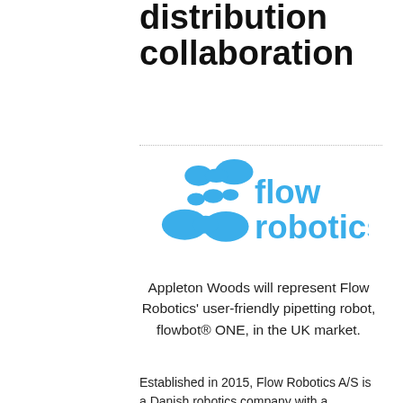distribution collaboration
[Figure (logo): Flow Robotics logo in blue — abstract blob/molecule shapes on the left and 'flow robotics' text in blue on the right]
Appleton Woods will represent Flow Robotics' user-friendly pipetting robot, flowbot® ONE, in the UK market.
Established in 2015, Flow Robotics A/S is a Danish robotics company with a